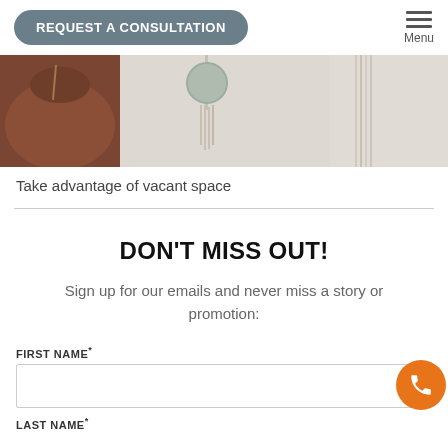REQUEST A CONSULTATION
[Figure (photo): A decorative interior photo showing macrame plant hangers and a brown ceramic pot against a light beige wall.]
Take advantage of vacant space
DON'T MISS OUT!
Sign up for our emails and never miss a story or promotion:
FIRST NAME*
LAST NAME*